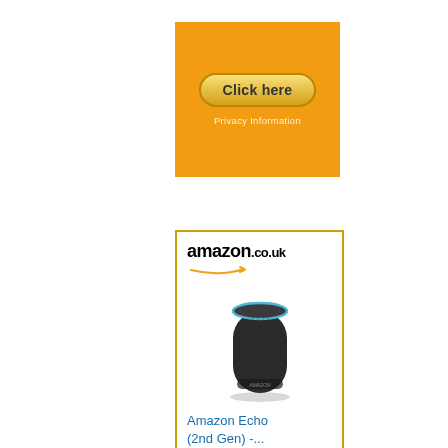[Figure (other): Orange rectangular advertisement banner with a gold/yellow rounded 'Click here' button and 'Privacy Information' text below it in white]
[Figure (other): Amazon.co.uk advertisement panel showing the Amazon logo with orange arrow, an Amazon Echo 2nd Generation smart speaker device image in black, product title 'Amazon Echo (2nd Gen) -...' in blue text, and a gold 'Shop now' bar at the bottom with Amazon 'a' icon]